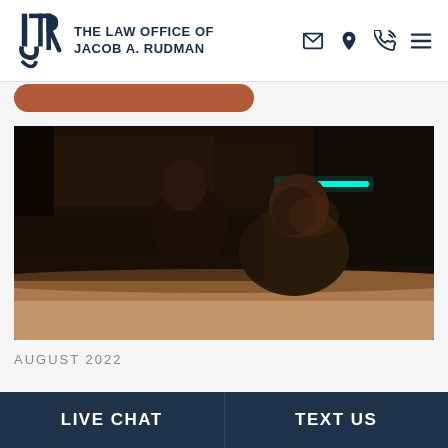THE LAW OFFICE OF JACOB A. RUDMAN
[Figure (photo): Dark nighttime scene showing a person leaning over inside a car, viewed through the windshield. A cyan/teal neon light bar is visible in the background on the right side of the image.]
AUGUST 2022
LIVE CHAT | TEXT US